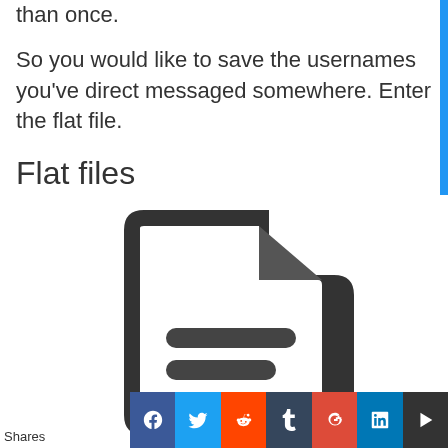than once.
So you would like to save the usernames you've direct messaged somewhere. Enter the flat file.
Flat files
[Figure (illustration): A dark gray document/file icon with a folded corner at the top right and three horizontal rounded text lines in the body of the document.]
Shares [social share bar: Facebook, Twitter, Reddit, Tumblr, Google+, LinkedIn, More]